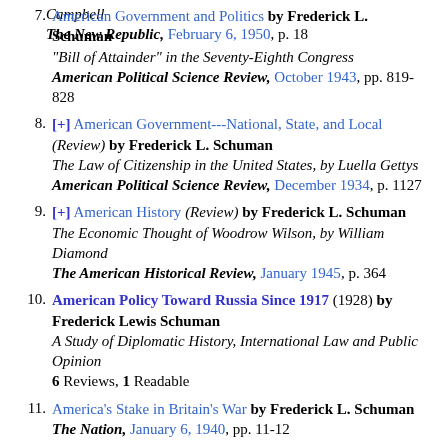Campbell
The New Republic, February 6, 1950, p. 18
7. American Government and Politics by Frederick L. Schuman
"Bill of Attainder" in the Seventy-Eighth Congress
American Political Science Review, October 1943, pp. 819-828
8. [+] American Government---National, State, and Local (Review) by Frederick L. Schuman
The Law of Citizenship in the United States, by Luella Gettys
American Political Science Review, December 1934, p. 1127
9. [+] American History (Review) by Frederick L. Schuman
The Economic Thought of Woodrow Wilson, by William Diamond
The American Historical Review, January 1945, p. 364
10. American Policy Toward Russia Since 1917 (1928) by Frederick Lewis Schuman
A Study of Diplomatic History, International Law and Public Opinion
6 Reviews, 1 Readable
11. America's Stake in Britain's War by Frederick L. Schuman
The Nation, January 6, 1940, pp. 11-12
12. [+] The Anatomy of Disaster (Review) by Frederick L. Schuman